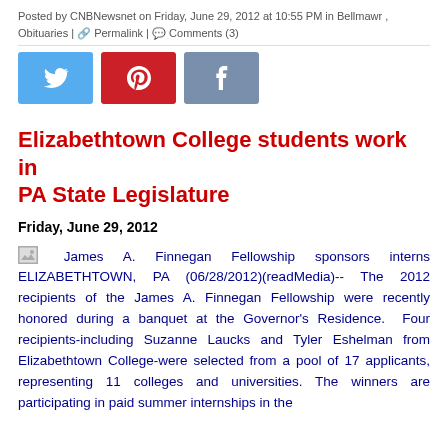Posted by CNBNewsnet on Friday, June 29, 2012 at 10:55 PM in Bellmawr, Obituaries | Permalink | Comments (3)
[Figure (other): Social media share buttons: Twitter (blue), Pinterest (red), Facebook (grey-blue)]
Elizabethtown College students work in PA State Legislature
Friday, June 29, 2012
James A. Finnegan Fellowship sponsors interns ELIZABETHTOWN, PA (06/28/2012)(readMedia)-- The 2012 recipients of the James A. Finnegan Fellowship were recently honored during a banquet at the Governor's Residence. Four recipients-including Suzanne Laucks and Tyler Eshelman from Elizabethtown College-were selected from a pool of 17 applicants, representing 11 colleges and universities. The winners are participating in paid summer internships in the